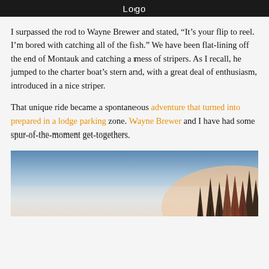Logo
I surpassed the rod to Wayne Brewer and stated, “It’s your flip to reel. I’m bored with catching all of the fish.” We have been flat-lining off the end of Montauk and catching a mess of stripers. As I recall, he jumped to the charter boat’s stern and, with a great deal of enthusiasm, introduced in a nice striper.
That unique ride became a spontaneous adventure that turned into prepared in a lodge parking zone. Wayne Brewer and I have had some spur-of-the-moment get-togethers.
[Figure (photo): Outdoor landscape photo showing a misty forest scene with tall evergreen trees silhouetted against a light blue and white sky, with warm pinkish-red light in the lower right area.]